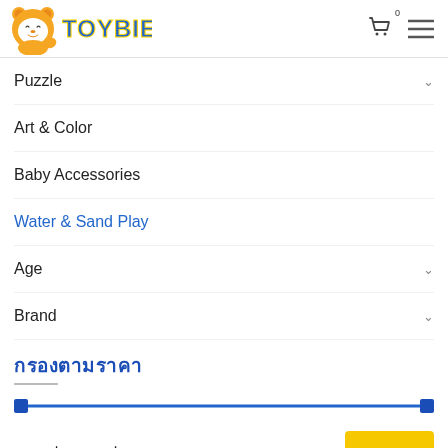[Figure (logo): Toybies logo with orange bear mascot and blue/yellow stylized text 'TOYBIES']
Puzzle
Art & Color
Baby Accessories
Water & Sand Play
Age
Brand
กรองตามราคา
ราคา ฿110 — ฿2,950
กรอง